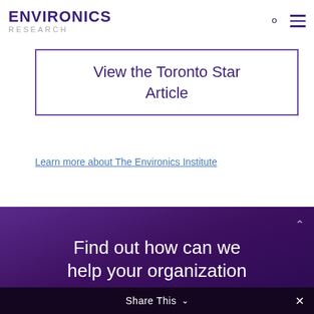ENVIRONICS RESEARCH
View the Toronto Star Article
Learn more about The Environics Institute
Find out how can we help your organization
Share This ✓ ✕